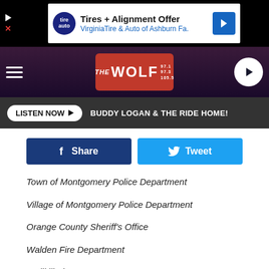[Figure (screenshot): Advertisement banner: Tires + Alignment Offer, VirginiaTire & Auto of Ashburn Fa.]
[Figure (logo): The Wolf 97.1 / 97.3 / 105.5 radio station navigation bar with hamburger menu and play button]
[Figure (screenshot): Listen Now button bar showing BUDDY LOGAN & THE RIDE HOME!]
[Figure (screenshot): Facebook Share and Twitter Tweet social buttons]
Town of Montgomery Police Department
Village of Montgomery Police Department
Orange County Sheriff's Office
Walden Fire Department
Wallkill Fire Department
[Figure (screenshot): Bottom advertisement: MEET WITH LOCAL SINGLES - clover app, partially obscuring text starting with 'To']